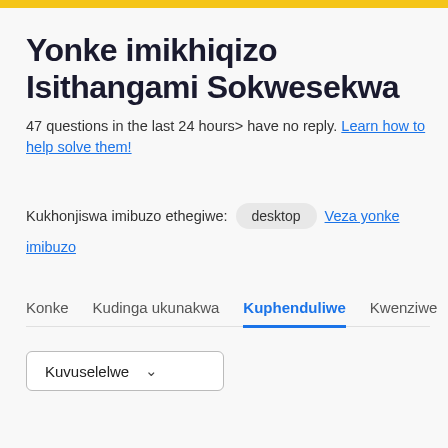Yonke imikhiqizo Isithangami Sokwesekwa
47 questions in the last 24 hours> have no reply. Learn how to help solve them!
Kukhonjiswa imibuzo ethegiwe: desktop   Veza yonke imibuzo
Konke   Kudinga ukunakwa   Kuphenduliwe   Kwenziwe
Kuvuselelwe